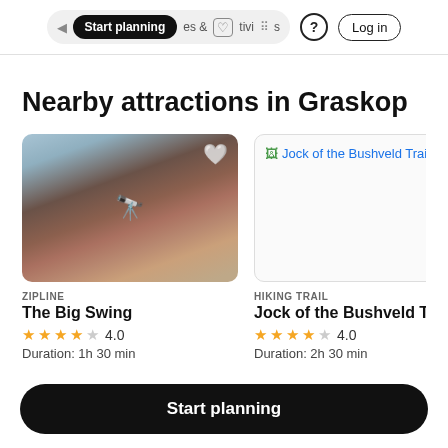Start planning | & activities | ? | Log in
Nearby attractions in Graskop
[Figure (photo): Blurred photo of animals (possibly horses or cattle) with binoculars icon overlay and white heart icon, card for The Big Swing zipline attraction]
ZIPLINE
The Big Swing
4.0
Duration: 1h 30 min
[Figure (screenshot): Broken image placeholder showing link text 'Jock of the Bushveld Trail' in blue]
HIKING TRAIL
Jock of the Bushveld Trail
4.0
Duration: 2h 30 min
Start planning